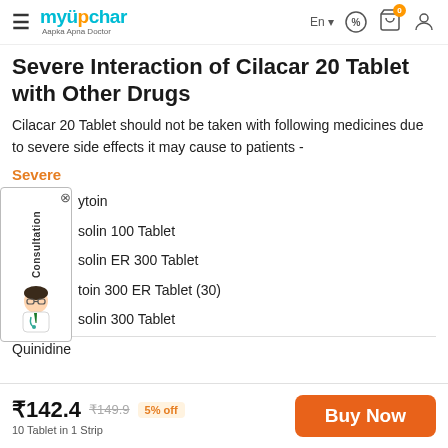myUpchar – Aapka Apna Doctor | En | Cart (0) | User
Severe Interaction of Cilacar 20 Tablet with Other Drugs
Cilacar 20 Tablet should not be taken with following medicines due to severe side effects it may cause to patients -
Severe
ytoin
solin 100 Tablet
solin ER 300 Tablet
toin 300 ER Tablet (30)
solin 300 Tablet
Quinidine
₹142.4  ₹149.9  5% off  10 Tablet in 1 Strip  Buy Now